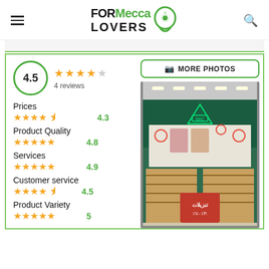FORMecca LOVERS
4.5 — 4 reviews
Prices ★★★★½ 4.3
Product Quality ★★★★★ 4.8
Services ★★★★★ 4.9
Customer service ★★★★½ 4.5
Product Variety ★★★★★ 5
[Figure (screenshot): Interior of a toy/children's store (BBC brand) with shelves of products, promotional decorations, and a sale sign in Arabic.]